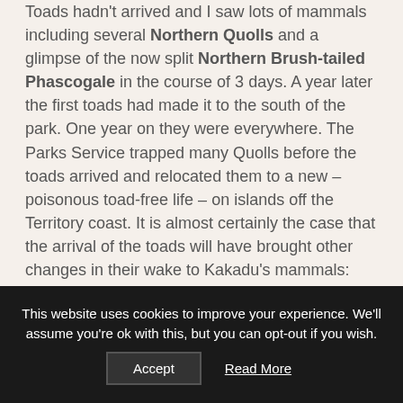Toads hadn't arrived and I saw lots of mammals including several Northern Quolls and a glimpse of the now split Northern Brush-tailed Phascogale in the course of 3 days. A year later the first toads had made it to the south of the park. One year on they were everywhere. The Parks Service trapped many Quolls before the toads arrived and relocated them to a new – poisonous toad-free life – on islands off the Territory coast. It is almost certainly the case that the arrival of the toads will have brought other changes in their wake to Kakadu's mammals: these notes are already out of date.
Kakadu is big and much of it is unaccessible unless you have a lot of time or a helicopter. But there are a number
This website uses cookies to improve your experience. We'll assume you're ok with this, but you can opt-out if you wish.